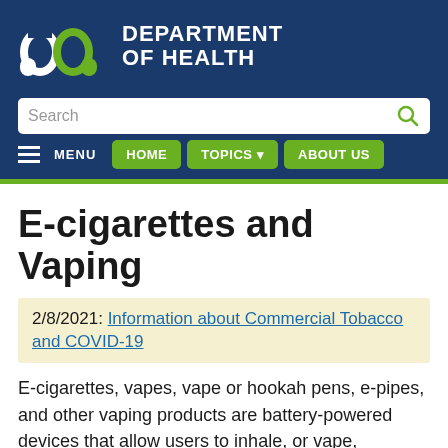[Figure (logo): Minnesota Department of Health logo with stylized M in white and green on dark blue background, with 'DEPARTMENT OF HEALTH' text in white]
[Figure (screenshot): Search bar with placeholder text 'Search' and green search icon]
[Figure (screenshot): Navigation bar with hamburger menu, HOME, TOPICS dropdown, and ABOUT US buttons]
E-cigarettes and Vaping
2/8/2021: Information about Commercial Tobacco and COVID-19
E-cigarettes, vapes, vape or hookah pens, e-pipes, and other vaping products are battery-powered devices that allow users to inhale, or vape, aerosolized liquid (e-